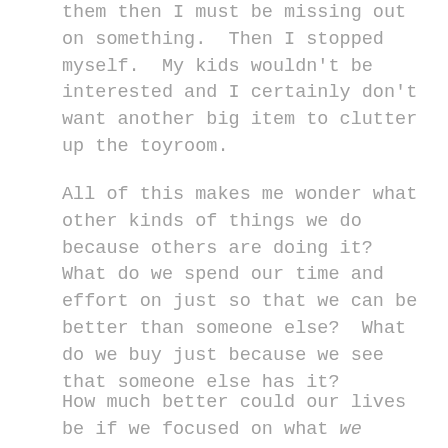them then I must be missing out on something. Then I stopped myself. My kids wouldn't be interested and I certainly don't want another big item to clutter up the toyroom.
All of this makes me wonder what other kinds of things we do because others are doing it? What do we spend our time and effort on just so that we can be better than someone else? What do we buy just because we see that someone else has it?
How much better could our lives be if we focused on what we actually needed and wanted, on what would make us happy, instead of what we think will make us happy because of what we see in others? Just because half of the people in Ikea are buying an easel doesn't mean that it's going to enrich my life or that